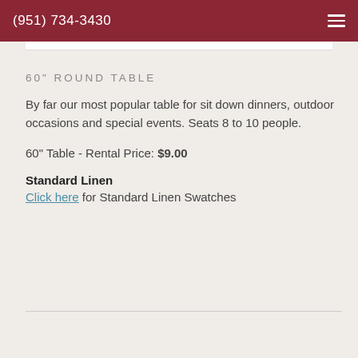(951) 734-3430
60" ROUND TABLE
By far our most popular table for sit down dinners, outdoor occasions and special events. Seats 8 to 10 people.
60" Table - Rental Price: $9.00
Standard Linen
Click here for Standard Linen Swatches